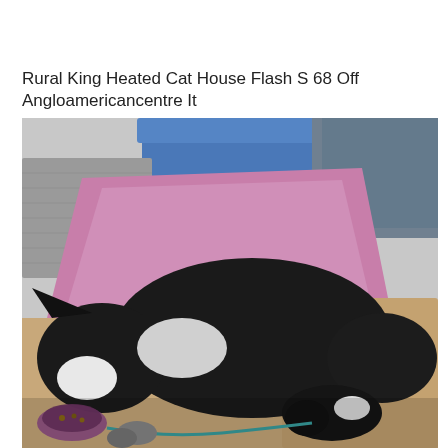Rural King Heated Cat House Flash S 68 Off Angloamericancentre It
[Figure (photo): A black and white dog (Boston Terrier) curled up sleeping on colorful blankets and clothing items. The background shows a blue plastic container and various fabric items in gray, pink/purple, and tan colors. The dog appears to be nursing or resting with another small animal.]